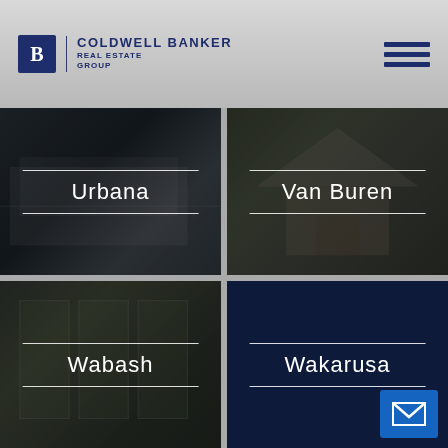[Figure (logo): Coldwell Banker Real Estate Group logo with hamburger menu icon]
[Figure (photo): Urbana property thumbnail with white text label overlay]
[Figure (photo): Van Buren property thumbnail with white text label overlay]
[Figure (photo): Wabash property thumbnail with white text label overlay]
[Figure (photo): Wakarusa dark blue panel with white text label and email icon]